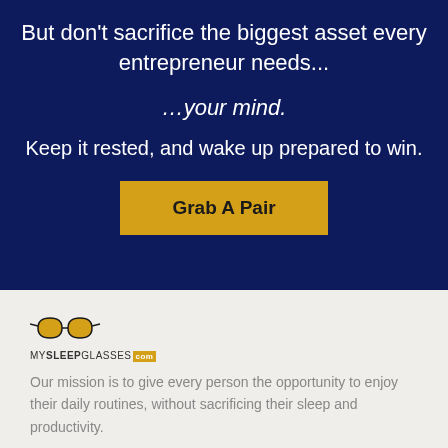But don't sacrifice the biggest asset every entrepreneur needs...
…your mind.
Keep it rested, and wake up prepared to win.
Grab A Pair
[Figure (logo): MySleepGlasses.com logo with yellow glasses icon]
Our mission is to give every person the opportunity to enjoy their daily routines, without sacrificing their sleep and productivity.